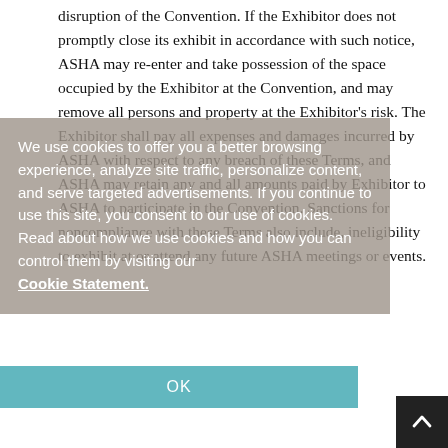disruption of the Convention. If the Exhibitor does not promptly close its exhibit in accordance with such notice, ASHA may re-enter and take possession of the space occupied by the Exhibitor at the Convention, and may remove all persons and property at the Exhibitor's risk. The Exhibitor shall pay all expenses and damages incurred by ASHA with respect to any breach of these Terms, and ASHA may retain any and all amounts paid by Exhibitor to ASHA to participate in the Convention. Sanctions for noncompliance with these Terms also include, ineligibility to exhibit at or attend any future ASHA meetings or events.
We use cookies to offer you a better browsing experience, analyze site traffic, personalize content, and serve targeted advertisements. If you continue to use this site, you consent to our use of cookies. Read about how we use cookies and how you can control them by visiting our Cookie Statement.